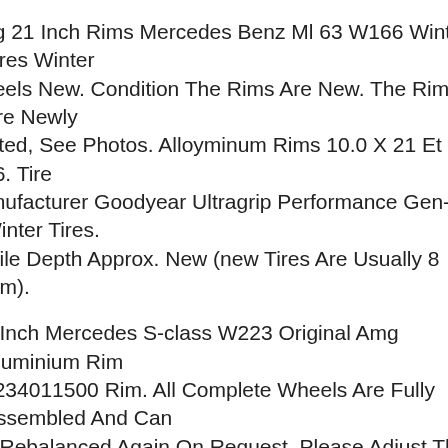ng 21 Inch Rims Mercedes Benz Ml 63 W166 Winter Tires Winter heels New. Condition The Rims Are New. The Rims Are Newly inted, See Photos. Alloyminum Rims 10.0 X 21 Et 56. Tire anufacturer Goodyear Ultragrip Performance Gen-1 Winter Tires. ofile Depth Approx. New (new Tires Are Usually 8 Mm).
e Inch Mercedes S-class W223 Original Amg Aluminium Rim 2234011500 Rim. All Complete Wheels Are Fully Assembled And Can e Rebalanced Again On Request. Please Adjust The Air Pressure Of he Tires To The Information Given In Your Vehicle-specific Operating structions. For The Listed Models Is Usually No Tv Registration equired. To Check, Please Refer To Your Coc Data Sheet. It States hether The Desired Wheel And Tire Combination Has Been Entered he Rim Caps Are Not Included In The Scope Of Delivery, But You Can rder Them As An Option. Wheel Bolts Are Also Not Included. As A ule, You Can Use The Existing Screws From Your Original Wheels om The Factory. Please Note The Permissible Tightening Torque hen Attaching The Wheels. The Assessment Of The Used Tyresrims oes Not Refer To The Quality Of The New Tyres, But Is Based On a specific Standard.